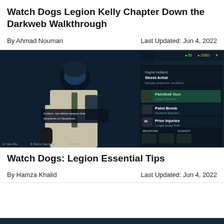Watch Dogs Legion Kelly Chapter Down the Darkweb Walkthrough
By Ahmad Nouman   Last Updated: Jun 4, 2022
[Figure (screenshot): Watch Dogs Legion game screenshot showing a Street Artist operative named Kayne Holland with character stats, Paintball Gun unique weapon, Paint Bomb, and Prior Injuries abilities listed on right side panel. Bottom shows WEAPONS and GADGET options with View Bio, Retire Operative, and Back buttons.]
Watch Dogs: Legion Essential Tips
By Hamza Khalid   Last Updated: Jun 4, 2022